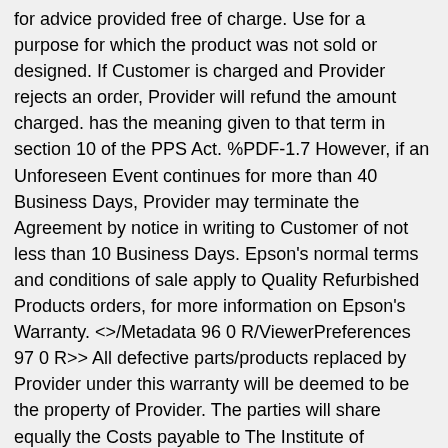for advice provided free of charge. Use for a purpose for which the product was not sold or designed. If Customer is charged and Provider rejects an order, Provider will refund the amount charged. has the meaning given to that term in section 10 of the PPS Act. %PDF-1.7 However, if an Unforeseen Event continues for more than 40 Business Days, Provider may terminate the Agreement by notice in writing to Customer of not less than 10 Business Days. Epson's normal terms and conditions of sale apply to Quality Refurbished Products orders, for more information on Epson's Warranty. <>/Metadata 96 0 R/ViewerPreferences 97 0 R>> All defective parts/products replaced by Provider under this warranty will be deemed to be the property of Provider. The parties will share equally the Costs payable to The Institute of Arbitrators & Mediators Australia. means information the Customer provides to the Provider. These immobilisers are at the forefront of design when it comes to electric immobilisation of...December 03, 2020. The new Paddock heavy duty portable electric drain cleaner is here - ideal for small...September 08,